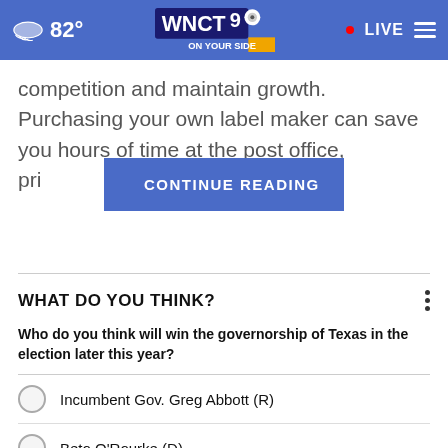82° WNCT9 ON YOUR SIDE • LIVE
competition and maintain growth. Purchasing your own label maker can save you hours of time at the post office, pri... the long run.
CONTINUE READING
WHAT DO YOU THINK?
Who do you think will win the governorship of Texas in the election later this year?
Incumbent Gov. Greg Abbott (R)
Beto O'Rourke (D)
I'm not sure
Other / No opinion